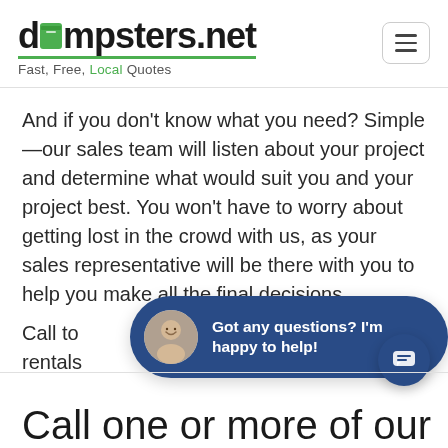dumpsters.net — Fast, Free, Local Quotes
And if you don't know what you need? Simple—our sales team will listen about your project and determine what would suit you and your project best. You won't have to worry about getting lost in the crowd with us, as your sales representative will be there with you to help you make all the final decisions.
Call to [rentals]
[Figure (illustration): Chat popup overlay with avatar of smiling man and text 'Got any questions? I'm happy to help!' on dark blue background with rounded corners. A dark blue circular chat icon button appears in the lower right.]
Call one or more of our